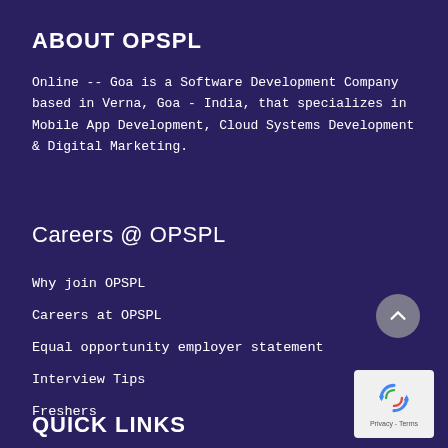ABOUT OPSPL
Online -- Goa is a Software Development Company based in Verna, Goa - India, that specializes in Mobile App Development, Cloud Systems Development & Digital Marketing.
Careers @ OPSPL
Why join OPSPL
Careers at OPSPL
Equal opportunity employer statement
Interview Tips
Freshers
QUICK LINKS
[Figure (other): Grey circular scroll-to-top button with upward chevron arrow]
[Figure (other): Google reCAPTCHA widget with blue recycling-style arrows icon and Privacy - Terms text]